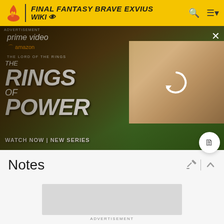FINAL FANTASY BRAVE EXVIUS WIKI
[Figure (screenshot): Amazon Prime Video advertisement for The Lord of the Rings: The Rings of Power. Shows text 'prime video', 'THE LORD OF THE RINGS', 'THE RINGS OF POWER', 'WATCH NOW | NEW SERIES' with dramatic fantasy imagery and a reload icon overlay on the right side image panel. Close button (X) in top right.]
Treasure! My treasure!
Notes
[Figure (other): Gray advertisement placeholder box at bottom of page]
ADVERTISEMENT